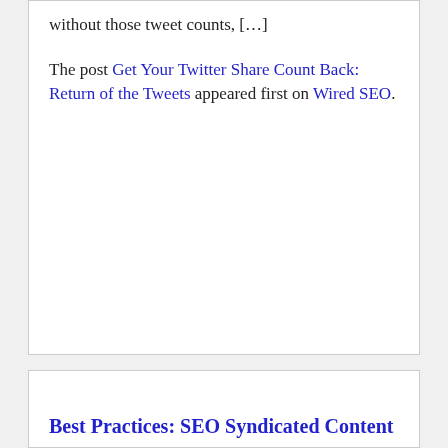without those tweet counts, […]
The post Get Your Twitter Share Count Back: Return of the Tweets appeared first on Wired SEO.
Best Practices: SEO Syndicated Content